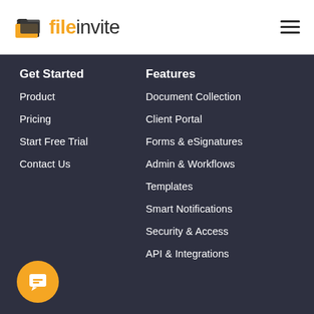[Figure (logo): FileInvite logo with folder icon and orange/dark text]
Get Started
Features
Product
Pricing
Start Free Trial
Contact Us
Document Collection
Client Portal
Forms & eSignatures
Admin & Workflows
Templates
Smart Notifications
Security & Access
API & Integrations
[Figure (illustration): Orange circular chat/support button with white chat icon]